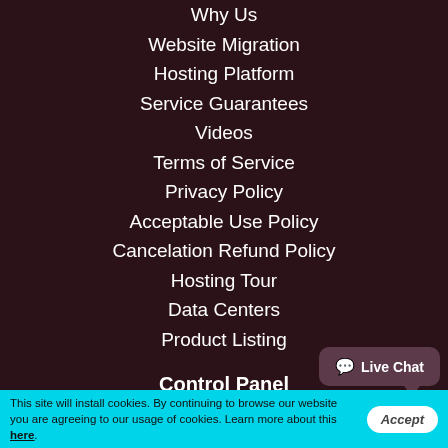Why Us
Website Migration
Hosting Platform
Service Guarantees
Videos
Terms of Service
Privacy Policy
Acceptable Use Policy
Cancelation Refund Policy
Hosting Tour
Data Centers
Product Listing
Control Panel
Web Hosting Control Panel
Hepsia vs cPanel
Web Accelerators
This site will install cookies. By continuing to browse our website you are agreeing to our usage of cookies. Learn more about this here.